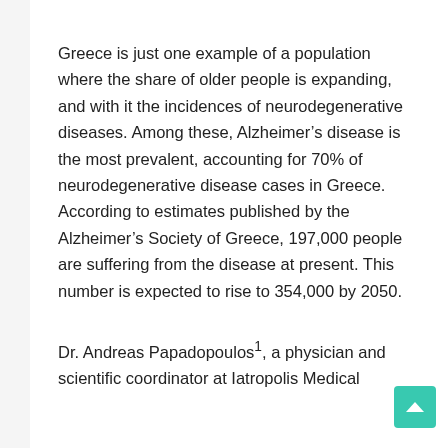Greece is just one example of a population where the share of older people is expanding, and with it the incidences of neurodegenerative diseases. Among these, Alzheimer's disease is the most prevalent, accounting for 70% of neurodegenerative disease cases in Greece. According to estimates published by the Alzheimer's Society of Greece, 197,000 people are suffering from the disease at present. This number is expected to rise to 354,000 by 2050.
Dr. Andreas Papadopoulos¹, a physician and scientific coordinator at Iatropolis Medical